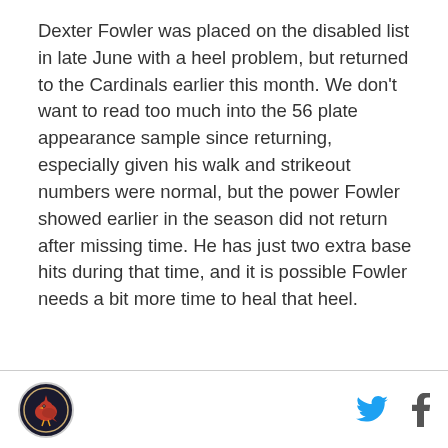Dexter Fowler was placed on the disabled list in late June with a heel problem, but returned to the Cardinals earlier this month. We don't want to read too much into the 56 plate appearance sample since returning, especially given his walk and strikeout numbers were normal, but the power Fowler showed earlier in the season did not return after missing time. He has just two extra base hits during that time, and it is possible Fowler needs a bit more time to heal that heel.
[Cardinals logo] [Twitter icon] [Facebook icon]